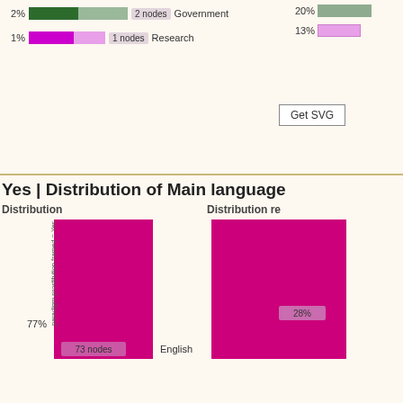[Figure (bar-chart): Partial view of bar chart showing Government 2% (2 nodes) and Research 1% (1 node), with right panel showing 20% and 13% bars]
2%  2 nodes  Government
1%  1 nodes  Research
Yes | Distribution of Main language
Distribution
Distribution re
[Figure (bar-chart): Bar chart showing English at 77% (73 nodes) for paradigm prostitution framed = Yes. Right panel shows 28%.]